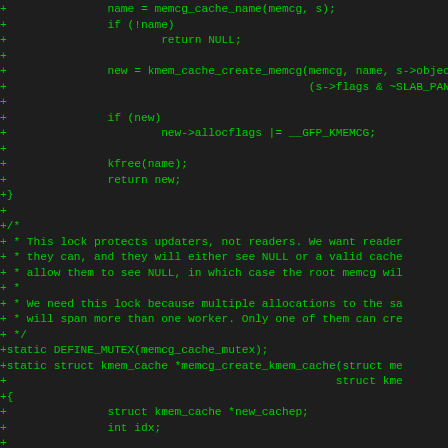[Figure (screenshot): Code diff screenshot showing C source code additions (green +) on a dark background. The code shows functions related to kmem_cache creation with memcg support, including mutex definition and struct declarations.]